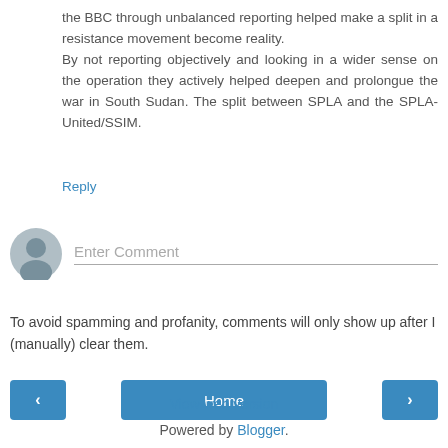the BBC through unbalanced reporting helped make a split in a resistance movement become reality.
By not reporting objectively and looking in a wider sense on the operation they actively helped deepen and prolongue the war in South Sudan. The split between SPLA and the SPLA-United/SSIM.
Reply
[Figure (illustration): User avatar placeholder icon (grey silhouette of a person on a light blue-grey circular background)]
Enter Comment
To avoid spamming and profanity, comments will only show up after I (manually) clear them.
‹
Home
›
View web version
Powered by Blogger.